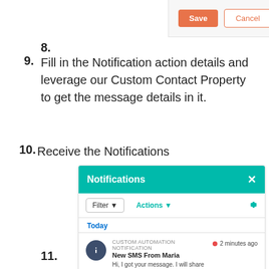[Figure (screenshot): Save and Cancel buttons in a form UI]
8.
9. Fill in the Notification action details and leverage our Custom Contact Property to get the message details in it.
10. Receive the Notifications
[Figure (screenshot): HubSpot Notifications panel showing: header 'Notifications' with teal background, Filter and Actions toolbar, Today section, and a Custom Automation Notification: 'New SMS From Maria' - 'Hi, I got your message. I will share the details for you to proceed' - 2 minutes ago]
11.